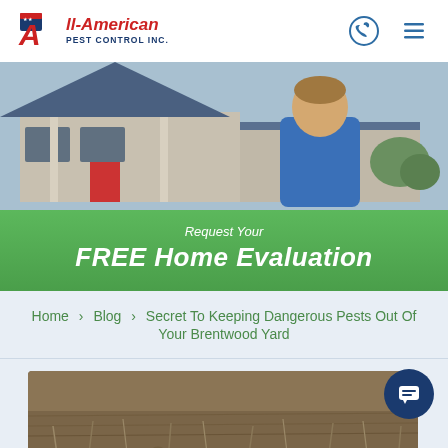[Figure (screenshot): All-American Pest Control Inc. company logo with red stylized 'A' and blue text on white background]
[Figure (photo): Hero banner showing a smiling man in blue shirt standing in front of a house]
Request Your FREE Home Evaluation
Home › Blog › Secret To Keeping Dangerous Pests Out Of Your Brentwood Yard
[Figure (photo): Ground-level photo of dry dirt and sparse vegetation in a yard]